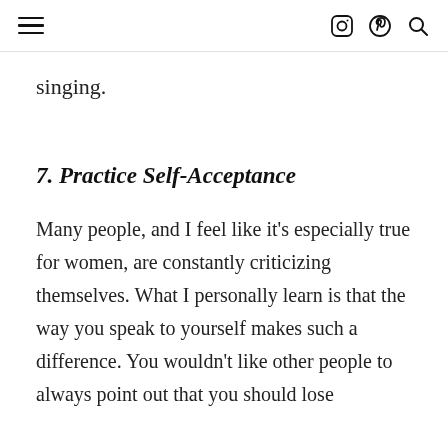≡  [instagram] [pinterest] [search]
singing.
7. Practice Self-Acceptance
Many people, and I feel like it's especially true for women, are constantly criticizing themselves. What I personally learn is that the way you speak to yourself makes such a difference. You wouldn't like other people to always point out that you should lose